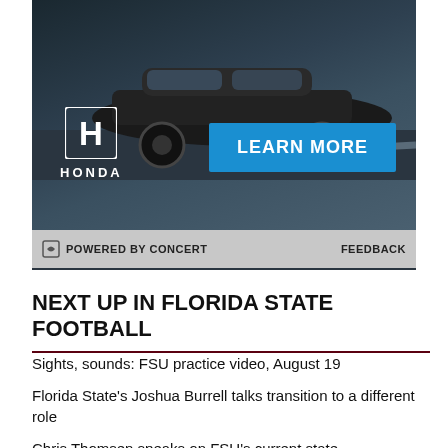[Figure (photo): Honda advertisement showing a dark car on road with Honda logo and 'LEARN MORE' blue button, with 'POWERED BY CONCERT' and 'FEEDBACK' footer bar]
NEXT UP IN FLORIDA STATE FOOTBALL
Sights, sounds: FSU practice video, August 19
Florida State's Joshua Burrell talks transition to a different role
Chris Thomsen speaks on FSU's current state
HC Mike Norvell recaps FSU practice week
Noles News: Who is FSU's best player?
Takeaways from Thursday's FSU football practice